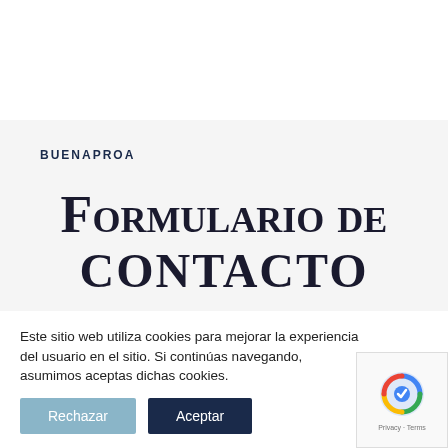BUENAPROA
Formulario de contacto
Este sitio web utiliza cookies para mejorar la experiencia del usuario en el sitio. Si continúas navegando, asumimos aceptas dichas cookies.
Rechazar
Aceptar
[Figure (other): reCAPTCHA widget with Privacy and Terms links]